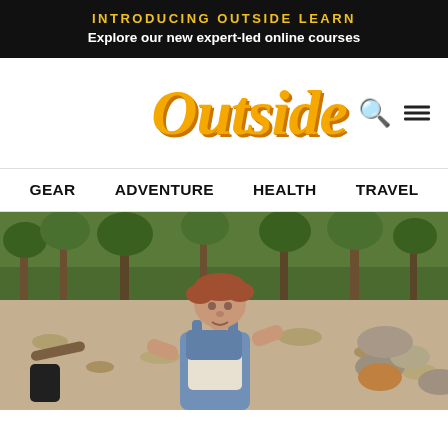INTRODUCING OUTSIDE LEARN
Explore our new expert-led online courses
Outside
GEAR   ADVENTURE   HEALTH   TRAVEL
[Figure (photo): Outdoor photo of a man wearing denim overalls and a white shirt, standing on a rocky/sandy riverbank or dry streambed. Dense green forest trees visible in the background. The photo has a vintage, slightly faded color quality. The man has reddish/auburn hair and appears to be looking at the camera.]